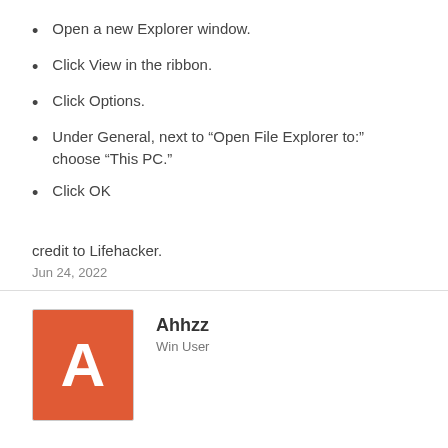Open a new Explorer window.
Click View in the ribbon.
Click Options.
Under General, next to “Open File Explorer to:” choose “This PC.”
Click OK
credit to Lifehacker.
Jun 24, 2022
Ahhzz
Win User